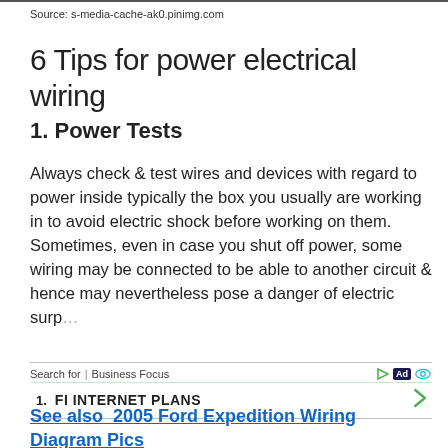Source: s-media-cache-ak0.pinimg.com
6 Tips for power electrical wiring
1. Power Tests
Always check & test wires and devices with regard to power inside typically the box you usually are working in to avoid electric shock before working on them. Sometimes, even in case you shut off power, some wiring may be connected to be able to another circuit & hence may nevertheless pose a danger of electric surp...
Search for  |  Business Focus  [Ad]
1.  FI INTERNET PLANS
See also  2005 Ford Expedition Wiring Diagram Pics